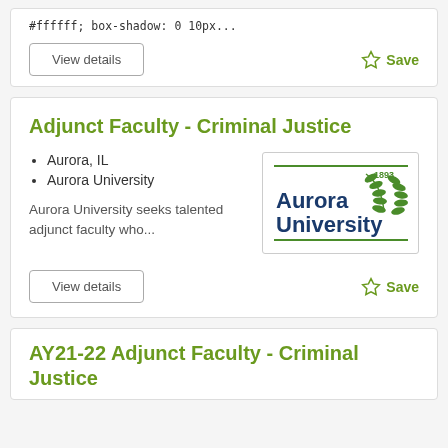#ffffff; box-shadow: 0 10px...
View details
Save
Adjunct Faculty - Criminal Justice
Aurora, IL
Aurora University
Aurora University seeks talented adjunct faculty who...
[Figure (logo): Aurora University logo with laurel branch and year 1893, text in blue and green]
View details
Save
AY21-22 Adjunct Faculty - Criminal Justice